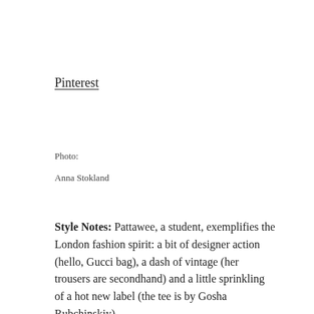Pinterest
Photo:
Anna Stokland
Style Notes: Pattawee, a student, exemplifies the London fashion spirit: a bit of designer action (hello, Gucci bag), a dash of vintage (her trousers are secondhand) and a little sprinkling of a hot new label (the tee is by Gosha Rubchinskiy).